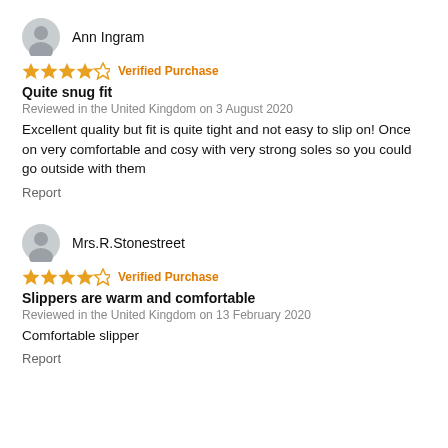Ann Ingram
★★★★☆ Verified Purchase
Quite snug fit
Reviewed in the United Kingdom on 3 August 2020
Excellent quality but fit is quite tight and not easy to slip on! Once on very comfortable and cosy with very strong soles so you could go outside with them
Report
Mrs.R.Stonestreet
★★★★☆ Verified Purchase
Slippers are warm and comfortable
Reviewed in the United Kingdom on 13 February 2020
Comfortable slipper
Report